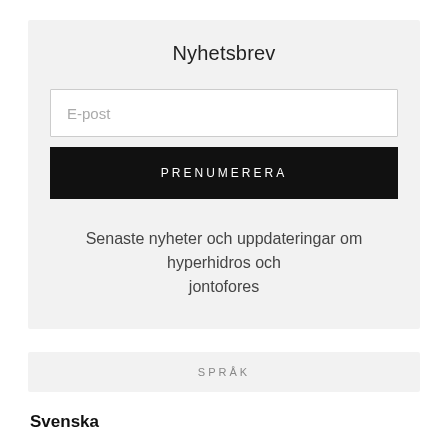Nyhetsbrev
E-post
PRENUMERERA
Senaste nyheter och uppdateringar om hyperhidros och jontofores
SPRÅK
Svenska